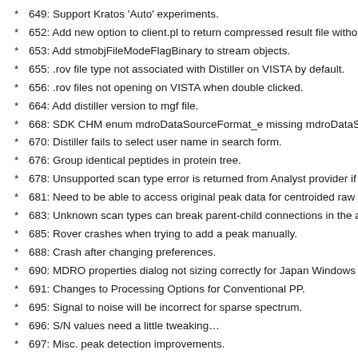649: Support Kratos 'Auto' experiments.
652: Add new option to client.pl to return compressed result file without io
653: Add stmobjFileModeFlagBinary to stream objects.
655: .rov file type not associated with Distiller on VISTA by default.
656: .rov files not opening on VISTA when double clicked.
664: Add distiller version to mgf file.
668: SDK CHM enum mdroDataSourceFormat_e missing mdroDataSourc
670: Distiller fails to select user name in search form.
676: Group identical peptides in protein tree.
678: Unsupported scan type error is returned from Analyst provider if sca
681: Need to be able to access original peak data for centroided raw files
683: Unknown scan types can break parent-child connections in the acqu
685: Rover crashes when trying to add a peak manually.
688: Crash after changing preferences.
690: MDRO properties dialog not sizing correctly for Japan Windows Loca
691: Changes to Processing Options for Conventional PP.
695: Signal to noise will be incorrect for sparse spectrum.
696: S/N values need a little tweaking…
697: Misc. peak detection improvements.
699: Memoryleak in Voyager provider.